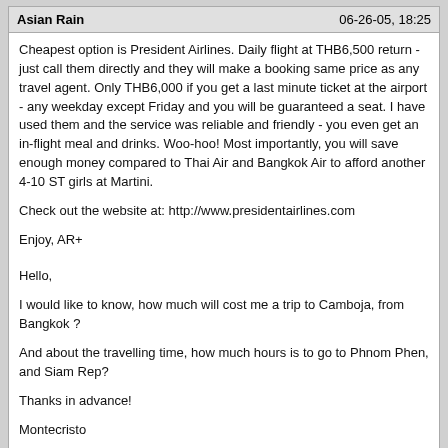Asian Rain | 06-26-05, 18:25
Cheapest option is President Airlines. Daily flight at THB6,500 return - just call them directly and they will make a booking same price as any travel agent. Only THB6,000 if you get a last minute ticket at the airport - any weekday except Friday and you will be guaranteed a seat. I have used them and the service was reliable and friendly - you even get an in-flight meal and drinks. Woo-hoo! Most importantly, you will save enough money compared to Thai Air and Bangkok Air to afford another 4-10 ST girls at Martini.
Check out the website at: http://www.presidentairlines.com
Enjoy, AR+
Hello,
I would like to know, how much will cost me a trip to Camboja, from Bangkok ?
And about the travelling time, how much hours is to go to Phnom Phen, and Siam Rep?
Thanks in advance!
Montecristo
Ljohnson | 07-01-05, 02:26
Asia Rain and others,
I will arrive in BKK on July 16 around 10:30 pm, will overnight in Bangkok and want to fly to PNH the next day (the 17th - a Sunday.) Will I be able to get my ticket (for the next day) from Presidnt Airlines at the airport when I am there at 11:00 or 11:30 pm on Saturday night? Or even on Sunday morning the 17th? How can I be assured there will be a flight and a seat?